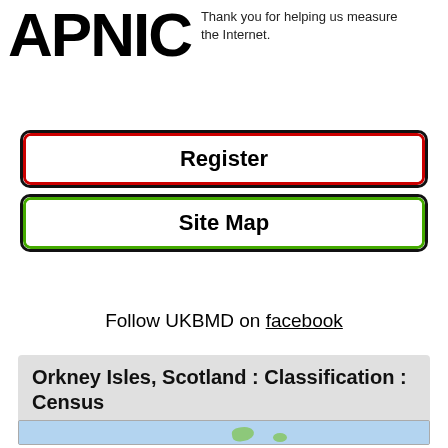[Figure (logo): APNIC logo in large bold black text]
Thank you for helping us measure the Internet.
Register
Site Map
Follow UKBMD on facebook
Orkney Isles, Scotland : Classification : Census
[Figure (map): Map showing Orkney Isles with blue water background and green island landmasses]